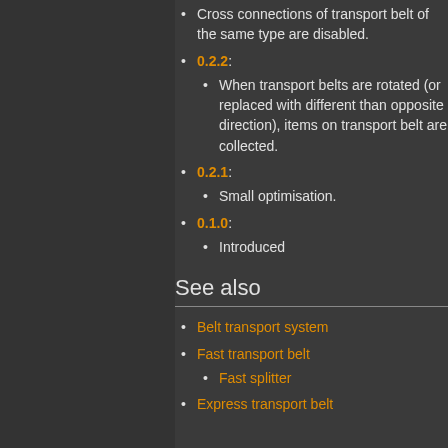Cross connections of transport belt of the same type are disabled.
0.2.2:
When transport belts are rotated (or replaced with different than opposite direction), items on transport belt are collected.
0.2.1:
Small optimisation.
0.1.0:
Introduced
See also
Belt transport system
Fast transport belt
Fast splitter
Express transport belt